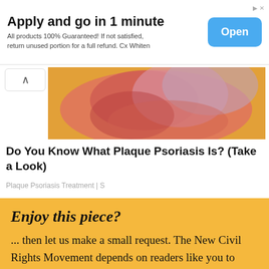[Figure (infographic): Advertisement banner with text 'Apply and go in 1 minute', body text, and blue Open button]
Apply and go in 1 minute
All products 100% Guaranteed! If not satisfied, return unused portion for a full refund. Cx Whiten
[Figure (photo): Close-up photo of a foot/toe showing reddish, inflamed skin on a yellow/orange background, related to Plaque Psoriasis]
Do You Know What Plaque Psoriasis Is? (Take a Look)
Plaque Psoriasis Treatment | S
Enjoy this piece?
... then let us make a small request. The New Civil Rights Movement depends on readers like you to meet our ongoing expenses and continue